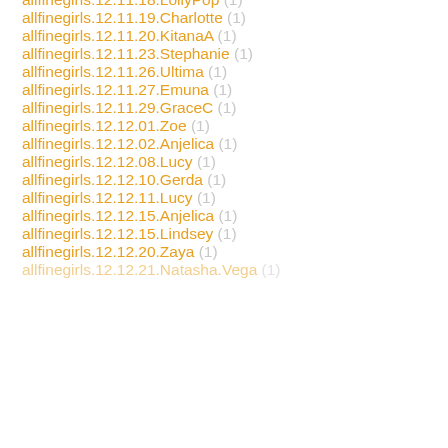allfinegirls.12.11.18.LollyPop (1)
allfinegirls.12.11.19.Charlotte (1)
allfinegirls.12.11.20.KitanaA (1)
allfinegirls.12.11.23.Stephanie (1)
allfinegirls.12.11.26.Ultima (1)
allfinegirls.12.11.27.Emuna (1)
allfinegirls.12.11.29.GraceC (1)
allfinegirls.12.12.01.Zoe (1)
allfinegirls.12.12.02.Anjelica (1)
allfinegirls.12.12.08.Lucy (1)
allfinegirls.12.12.10.Gerda (1)
allfinegirls.12.12.11.Lucy (1)
allfinegirls.12.12.15.Anjelica (1)
allfinegirls.12.12.15.Lindsey (1)
allfinegirls.12.12.20.Zaya (1)
allfinegirls.12.12.21.Natasha.Vega (1)